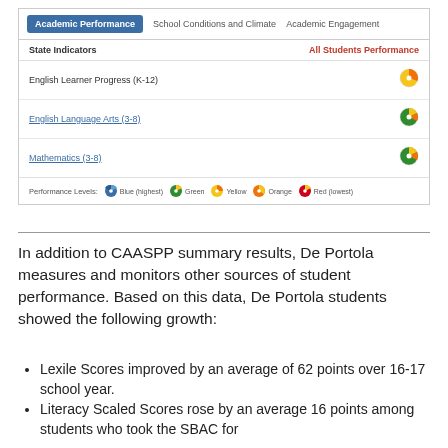| State Indicators | All Students Performance |
| --- | --- |
| English Learner Progress (K-12) | Yellow icon |
| English Language Arts (3-8) | Green icon |
| Mathematics (3-8) | Green icon |
In addition to CAASPP summary results, De Portola measures and monitors other sources of student performance. Based on this data, De Portola students showed the following growth:
Lexile Scores improved by an average of 62 points over 16-17 school year.
Literacy Scaled Scores rose by an average 16 points among students who took the SBAC for